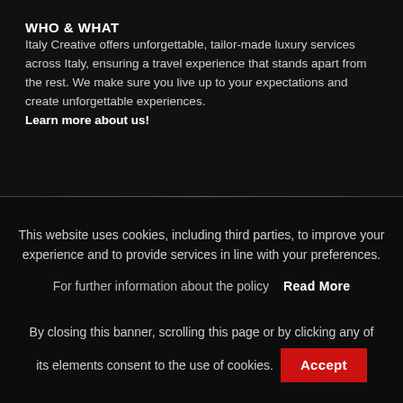WHO & WHAT
Italy Creative offers unforgettable, tailor-made luxury services across Italy, ensuring a travel experience that stands apart from the rest. We make sure you live up to your expectations and create unforgettable experiences. Learn more about us!
This website uses cookies, including third parties, to improve your experience and to provide services in line with your preferences.
For further information about the policy   Read More
By closing this banner, scrolling this page or by clicking any of its elements consent to the use of cookies.
Accept